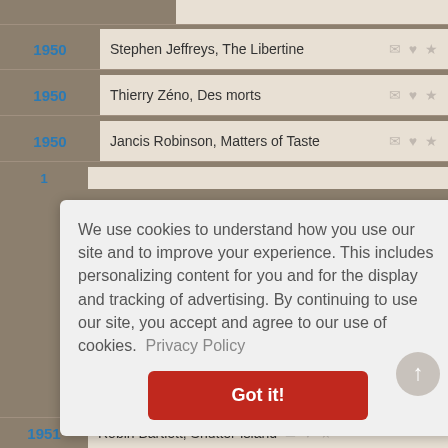1950  Stephen Jeffreys, The Libertine
1950  Thierry Zéno, Des morts
1950  Jancis Robinson, Matters of Taste
We use cookies to understand how you use our site and to improve your experience. This includes personalizing content for you and for the display and tracking of advertising. By continuing to use our site, you accept and agree to our use of cookies. Privacy Policy
Got it!
1951  Robin Bartlett, Shutter Island